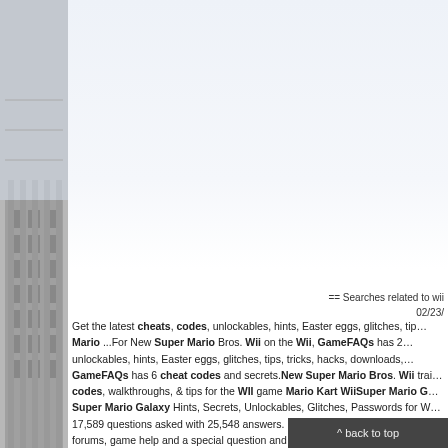[Figure (illustration): Grayscale architectural/building illustration on the left side strip]
== Searches related to wii
02/23/
Get the latest cheats, codes, unlockables, hints, Easter eggs, glitches, tips... Mario ...For New Super Mario Bros. Wii on the Wii, GameFAQs has 25... unlockables, hints, Easter eggs, glitches, tips, tricks, hacks, downloads,... GameFAQs has 6 cheat codes and secrets.New Super Mario Bros. Wii trai... codes, walkthroughs, & tips for the WII game Mario Kart WiiSuper Mario G... Super Mario Galaxy Hints, Secrets, Unlockables, Glitches, Passwords for W... 17,589 questions asked with 25,548 answers. If you need extra help, chec... forums, game help and a special question and answer system. All Free.The la... to you by the go...
^ back to top